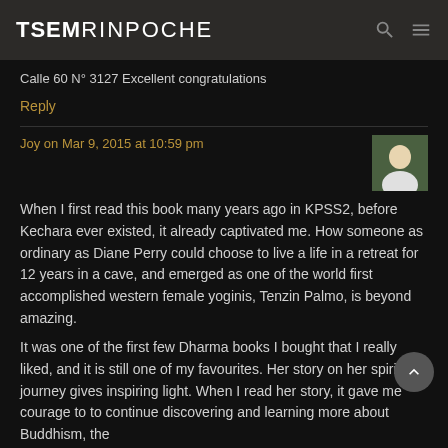TSEMRINPOCHE
Calle 60 N° 3127 Excellent congratulations
Reply
Joy on Mar 9, 2015 at 10:59 pm
When I first read this book many years ago in KPSS2, before Kechara ever existed, it already captivated me. How someone as ordinary as Diane Perry could choose to live a life in a retreat for 12 years in a cave, and emerged as one of the world first accomplished western female yoginis, Tenzin Palmo, is beyond amazing.
It was one of the first few Dharma books I bought that I really liked, and it is still one of my favourites. Her story on her spiritual journey gives inspiring light. When I read her story, it gave me courage to to continue discovering and learning more about Buddhism, the